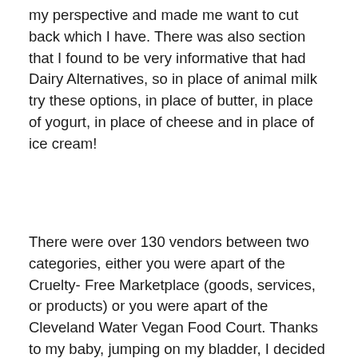my perspective and made me want to cut back which I have. There was also section that I found to be very informative that had Dairy Alternatives, so in place of animal milk try these options, in place of butter, in place of yogurt, in place of cheese and in place of ice cream!
There were over 130 vendors between two categories, either you were apart of the Cruelty- Free Marketplace (goods, services, or products) or you were apart of the Cleveland Water Vegan Food Court. Thanks to my baby, jumping on my bladder, I decided to start at the bathroom. I know that sounds like too much information but that's where I began my VegFest experience. A very smart company, Rustic Maka placed their samples at various sinks! It was the first cruelty free product I would sample and definitely one of my favorites. I washed my hands with the Chamomile infused body scrub and topped them off with theChamomile Infused Body Cream from the Luna Bliss collection, not only did is smell amazing, it felt amazing on my skin! The marketing was pure genius because the company not only provided samples but had a flier telling you about the product and provided the exact booth location within the exhibit